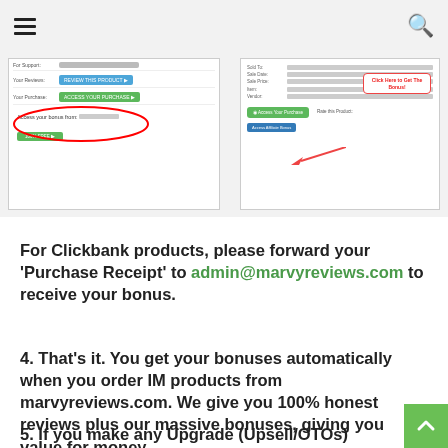[Figure (screenshot): Two screenshots showing Clickbank purchase receipt pages with bonus access buttons and affiliate bonus links highlighted.]
For Clickbank products, please forward your 'Purchase Receipt' to admin@marvyreviews.com to receive your bonus.
4. That’s it. You get your bonuses automatically when you order IM products from marvyreviews.com. We give you 100% honest reviews plus our massive bonuses, giving you value for money.
5. If you make any Upgrade (Upsell/OTOs) order, please forward your purchase receipt email to